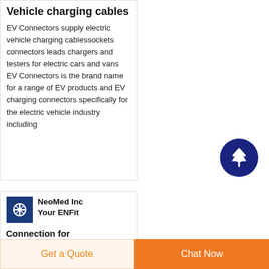Vehicle charging cables
EV Connectors supply electric vehicle charging cablessockets connectors leads chargers and testers for electric cars and vans EV Connectors is the brand name for a range of EV products and EV charging connectors specifically for the electric vehicle industry including
[Figure (other): Dark blue circular scroll-to-top button with upward arrow icon]
[Figure (logo): NeoMed Inc logo: white medical connector icon on dark blue square background]
NeoMed Inc Your ENFit Connection for
Get a Quote
Chat Now